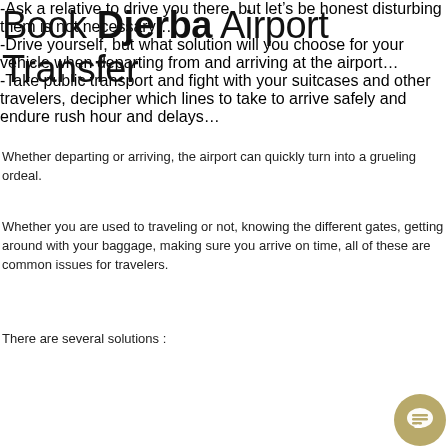Book Djerba Airport Transfer
Whether departing or arriving, the airport can quickly turn into a grueling ordeal.
Whether you are used to traveling or not, knowing the different gates, getting around with your baggage, making sure you arrive on time, all of these are common issues for travelers.
There are several solutions :
-Ask a relative to drive you there, but let’s be honest disturbing them is not necessary…
-Drive yourself, but what solution will you choose for your vehicle when departing from and arriving at the airport…
-Take public transport and fight with your suitcases and other travelers, decipher which lines to take to arrive safely and endure rush hour and delays…